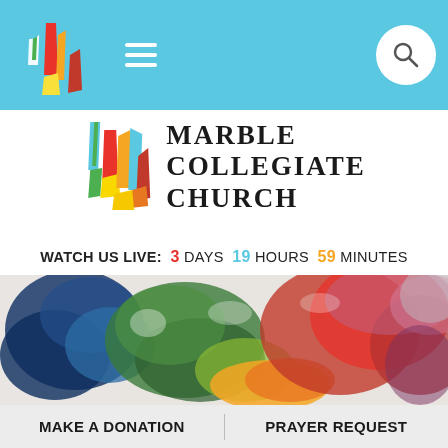[Figure (screenshot): Light blue navigation bar with colorful Marble Collegiate Church logo on left, hamburger menu icon, and search icon in white circle on right]
[Figure (logo): Marble Collegiate Church logo: colorful stained-glass style architectural icon with text MARBLE COLLEGIATE CHURCH in bold serif font]
WATCH US LIVE: 3 DAYS 19 HOURS 59 MINUTES
[Figure (photo): Watercolor painting with blues, greens, reds, oranges and purples blending together on white paper background]
MAKE A DONATION
PRAYER REQUEST